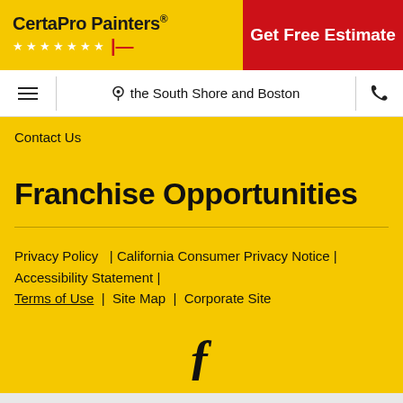CertaPro Painters® | Get Free Estimate
≡ | the South Shore and Boston | 📞
Contact Us
Franchise Opportunities
Privacy Policy  | California Consumer Privacy Notice | Accessibility Statement | Terms of Use  |  Site Map  |  Corporate Site
[Figure (logo): Facebook icon (f)]
© 2022 Certa ProPainters, Ltd. Each CertaPro Painters®